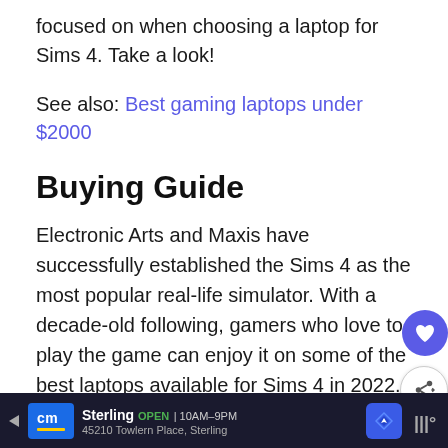focused on when choosing a laptop for Sims 4. Take a look!
See also: Best gaming laptops under $2000
Buying Guide
Electronic Arts and Maxis have successfully established the Sims 4 as the most popular real-life simulator. With a decade-old following, gamers who love to play the game can enjoy it on some of the best laptops available for Sims 4 in 2022. These are some important elements to look for in a laptop for gaming in general and
Sterling OPEN 10AM–9PM 45210 Towlern Place, Sterling